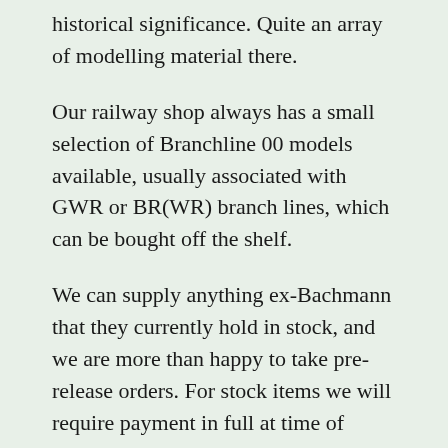historical significance. Quite an array of modelling material there.
Our railway shop always has a small selection of Branchline 00 models available, usually associated with GWR or BR(WR) branch lines, which can be bought off the shelf.
We can supply anything ex-Bachmann that they currently hold in stock, and we are more than happy to take pre-release orders. For stock items we will require payment in full at time of ordering. For pre-release items a small deposit of approximately 10% will be requested once a release date and RRP is announced. If you later cancel the order we will repay the deposit if we are also able to cancel the order from Bachmann. The balance will be required prior to despatch. Before placing an order you may wish to see the current availability by visiting www.bachmann.co.uk but we will always discuss details with you and keep you informed of any updates announced by Bachmann. Please be aware that all